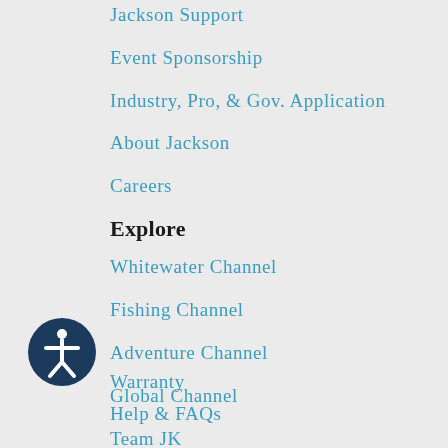Jackson Support
Event Sponsorship
Industry, Pro, & Gov. Application
About Jackson
Careers
Explore
Whitewater Channel
Fishing Channel
Adventure Channel
Global Channel
Team JK
Fishing Team Application
Customer Service
Register Your Product
Warranty
Help & FAQs